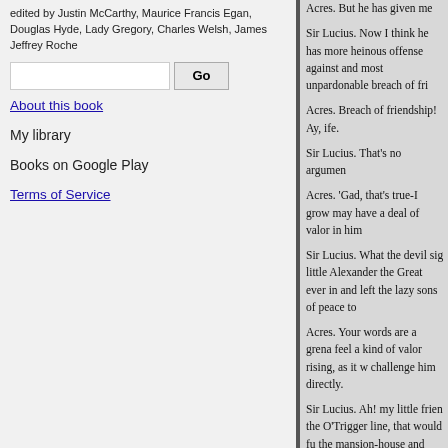edited by Justin McCarthy, Maurice Francis Egan, Douglas Hyde, Lady Gregory, Charles Welsh, James Jeffrey Roche
About this book
My library
Books on Google Play
Terms of Service
Acres. But he has given me

Sir Lucius. Now I think he has more heinous offense against and most unpardonable breach of fri

Acres. Breach of friendship! Ay, ife.

Sir Lucius. That's no argumen

Acres. 'Gad, that's true-I grow may have a deal of valor in him

Sir Lucius. What the devil sig little Alexander the Great ever in and left the lazy sons of peace to

Acres. Your words are a grena feel a kind of valor rising, as it w challenge him directly.

Sir Lucius. Ah! my little frien the O'Trigger line, that would fu the mansion-house and dirty acre